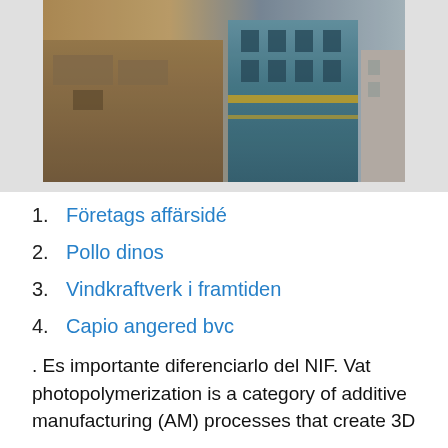[Figure (photo): Aerial or elevated view of urban buildings, including a teal/blue-green colored multi-story building and surrounding structures with rooftops visible.]
1. Företags affärsidé
2. Pollo dinos
3. Vindkraftverk i framtiden
4. Capio angered bvc
. Es importante diferenciarlo del NIF. Vat photopolymerization is a category of additive manufacturing (AM) processes that create 3D